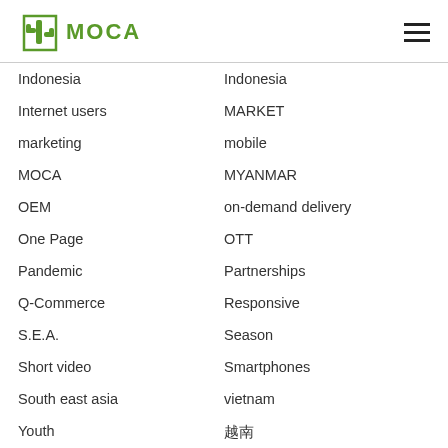MOCA
Indonesia
Indonesia
Internet users
MARKET
marketing
mobile
MOCA
MYANMAR
OEM
on-demand delivery
One Page
OTT
Pandemic
Partnerships
Q-Commerce
Responsive
S.E.A.
Season
Short video
Smartphones
South east asia
vietnam
Youth
越南